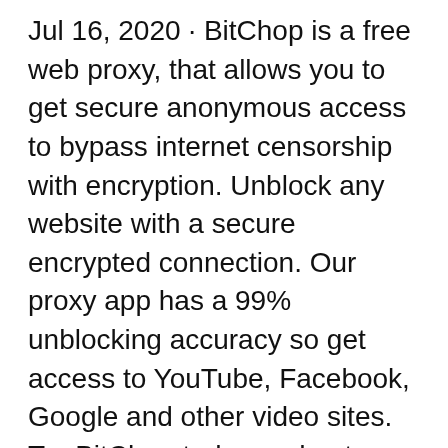Jul 16, 2020 · BitChop is a free web proxy, that allows you to get secure anonymous access to bypass internet censorship with encryption. Unblock any website with a secure encrypted connection. Our proxy app has a 99% unblocking accuracy so get access to YouTube, Facebook, Google and other video sites. Try BitChop today and get private and secure right away!
Jul 16, 2020 · BitChop is a free web proxy, that allows you to get secure anonymous access to bypass internet censorship with encryption. Unblock any website with a secure encrypted connection. Our proxy app has a 99% unblocking accuracy so get access to YouTube, Facebook, Google and other video sites. Try BitChop today and get private and secure right away! YouTubeProxy is a web proxy tool used to unblock blocked